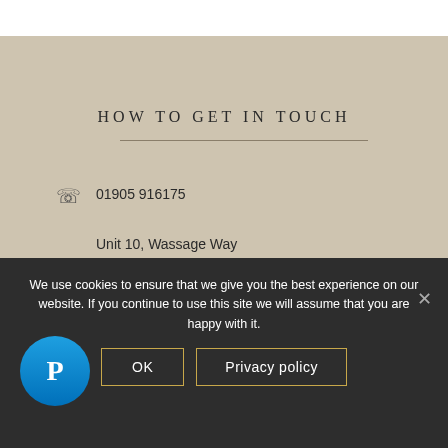HOW TO GET IN TOUCH
01905 916175
Unit 10, Wassage Way
Hampton Lovett Industrial Estate
Droitwich
Worcestershire
WR9 0NX
VAT No. 283 2164 09
We use cookies to ensure that we give you the best experience on our website. If you continue to use this site we will assume that you are happy with it.
OK
Privacy policy